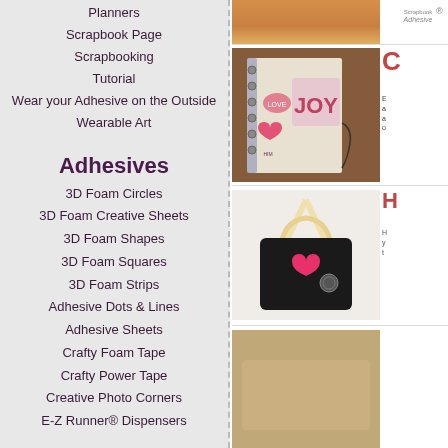Planners
Scrapbook Page
Scrapbooking
Tutorial
Wear your Adhesive on the Outside
Wearable Art
Adhesives
3D Foam Circles
3D Foam Creative Sheets
3D Foam Shapes
3D Foam Squares
3D Foam Strips
Adhesive Dots & Lines
Adhesive Sheets
Crafty Foam Tape
Crafty Power Tape
Creative Photo Corners
E-Z Runner® Dispensers
[Figure (photo): Spiral-bound scrapbook journal with JOY text and holiday decorations on a wooden background]
[Figure (photo): Black mini notebook/wallet with a pink heart decoration tied with a cream ribbon]